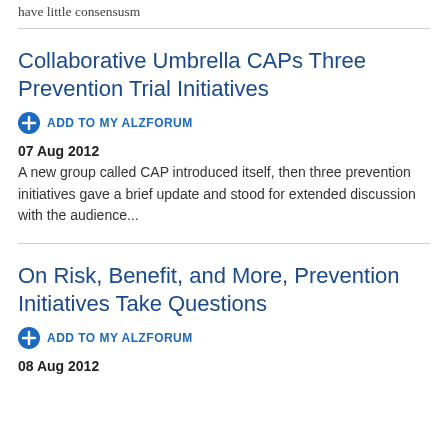have little consensusm
Collaborative Umbrella CAPs Three Prevention Trial Initiatives
ADD TO MY ALZFORUM
07 Aug 2012
A new group called CAP introduced itself, then three prevention initiatives gave a brief update and stood for extended discussion with the audience...
On Risk, Benefit, and More, Prevention Initiatives Take Questions
ADD TO MY ALZFORUM
08 Aug 2012